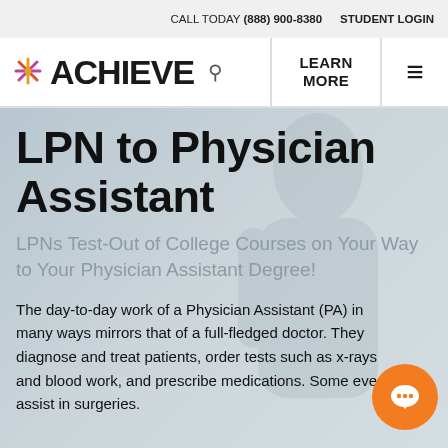CALL TODAY (888) 900-8380   STUDENT LOGIN
[Figure (logo): Achieve Test Prep logo with colorful spark/asterisk icon and bold ACHIEVE text, search icon]
LPN to Physician Assistant
LPNs Test-Out of College Courses on Your Way to Your Physician Assistant Degree!
The day-to-day work of a Physician Assistant (PA) in many ways mirrors that of a full-fledged doctor. They diagnose and treat patients, order tests such as x-rays and blood work, and prescribe medications. Some even assist in surgeries.